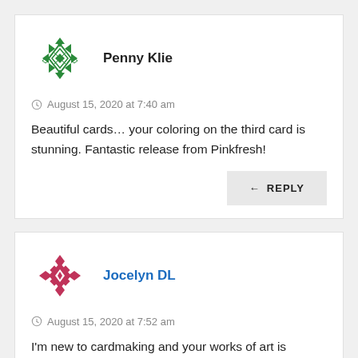[Figure (illustration): Green geometric diamond/snowflake pattern avatar for Penny Klie]
Penny Klie
August 15, 2020 at 7:40 am
Beautiful cards… your coloring on the third card is stunning. Fantastic release from Pinkfresh!
← REPLY
[Figure (illustration): Pink/magenta geometric diamond pattern avatar for Jocelyn DL]
Jocelyn DL
August 15, 2020 at 7:52 am
I'm new to cardmaking and your works of art is